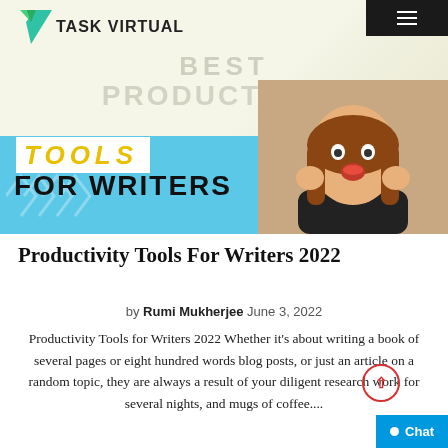[Figure (screenshot): Task Virtual website screenshot showing logo, hero banner with 'Best Productivity Tools for Writers' text, blue banner with 'TOOLS FOR WRITERS' heading, and a woman with an astonished expression on the right side of the banner]
Productivity Tools For Writers 2022
by Rumi Mukherjee  June 3, 2022
Productivity Tools for Writers 2022 Whether it’s about writing a book of several pages or eight hundred words blog posts, or just an article on a random topic, they are always a result of your diligent research work for several nights, and mugs of coffee....